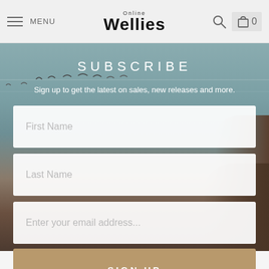MENU | Wellies Online | Search | Cart 0
SUBSCRIBE
Sign up to get the latest on sales, new releases and more.
First Name
Last Name
Enter your email address...
SIGN UP